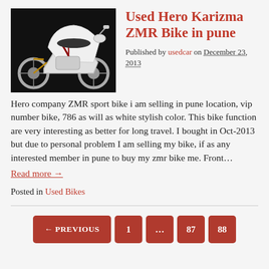[Figure (photo): Photo of a white Hero Karizma ZMR sport bike on a black background]
Used Hero Karizma ZMR Bike in pune
Published by usedcar on December 23, 2013
Hero company ZMR sport bike i am selling in pune location, vip number bike, 786 as will as white stylish color. This bike function are very interesting as better for long travel. I bought in Oct-2013 but due to personal problem I am selling my bike, if as any interested member in pune to buy my zmr bike me. Front…
Read more →
Posted in Used Bikes
← PREVIOUS  1  ...  87  88